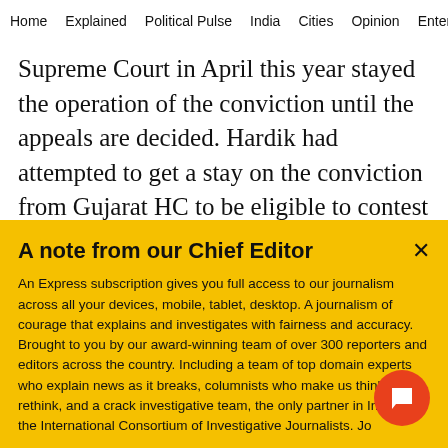Home   Explained   Political Pulse   India   Cities   Opinion   Entertainmer
Supreme Court in April this year stayed the operation of the conviction until the appeals are decided. Hardik had attempted to get a stay on the conviction from Gujarat HC to be eligible to contest the 2019 Lok Sabha elections, but the court had
A note from our Chief Editor
An Express subscription gives you full access to our journalism across all your devices, mobile, tablet, desktop. A journalism of courage that explains and investigates with fairness and accuracy. Brought to you by our award-winning team of over 300 reporters and editors across the country. Including a team of top domain experts who explain news as it breaks, columnists who make us think and rethink, and a crack investigative team, the only partner in India of the International Consortium of Investigative Journalists. Jo